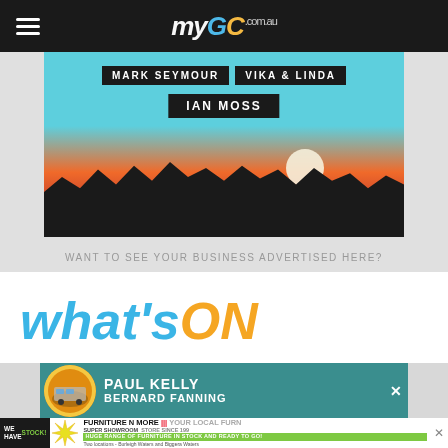myGC.com.au
[Figure (photo): Concert advertisement banner showing Mark Seymour, Vika & Linda, Ian Moss with silhouetted crowd and sunset background]
WANT TO SEE YOUR BUSINESS ADVERTISED HERE?
what'sON
[Figure (photo): Paul Kelly and Bernard Fanning concert advertisement on teal background with circular yellow logo]
[Figure (photo): Furniture N More Super Showroom advertisement - We Have Stock! Huge range of furniture in stock and ready to go! Two locations - Burleigh Waters and Biggera Waters]